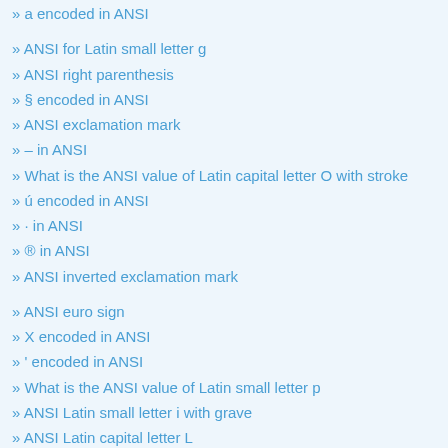» a encoded in ANSI
» ANSI for Latin small letter g
» ANSI right parenthesis
» § encoded in ANSI
» ANSI exclamation mark
» – in ANSI
» What is the ANSI value of Latin capital letter O with stroke
» ú encoded in ANSI
» · in ANSI
» ® in ANSI
» ANSI inverted exclamation mark
» ANSI euro sign
» X encoded in ANSI
» ' encoded in ANSI
» What is the ANSI value of Latin small letter p
» ANSI Latin small letter i with grave
» ANSI Latin capital letter L
» w encoded in ANSI
» ANSI not used
» ] encoded in ANSI
» What is the ANSI value of Latin capital letter E with